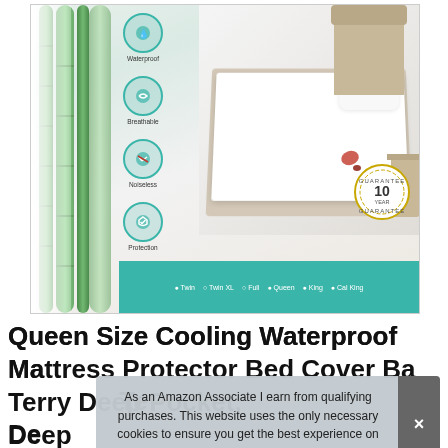[Figure (photo): Product image of a waterproof mattress protector packaging showing bamboo material on left, feature icons (Waterproof, Breathable, Noiseless, Protection), a white bed with a spilled drink, a 10-year guarantee badge, and a teal bottom banner listing sizes: Twin, Twin XL, Full, Queen, King, Cal King]
Queen Size Cooling Waterproof Mattress Protector Bed Cover Bamboo Terry Deep Pocket,Mattressprotector Queen for Pets
As an Amazon Associate I earn from qualifying purchases. This website uses the only necessary cookies to ensure you get the best experience on our website. More information